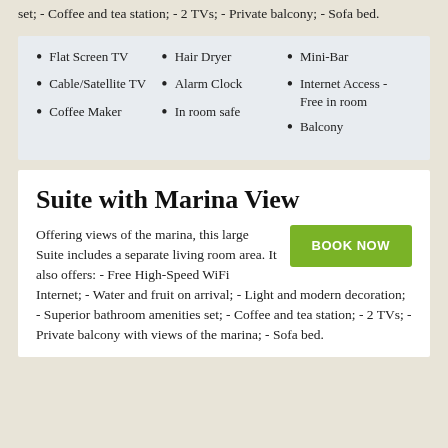set; - Coffee and tea station; - 2 TVs; - Private balcony; - Sofa bed.
Flat Screen TV
Cable/Satellite TV
Coffee Maker
Hair Dryer
Alarm Clock
In room safe
Mini-Bar
Internet Access - Free in room
Balcony
Suite with Marina View
Offering views of the marina, this large Suite includes a separate living room area. It also offers: - Free High-Speed WiFi Internet; - Water and fruit on arrival; - Light and modern decoration; - Superior bathroom amenities set; - Coffee and tea station; - 2 TVs; - Private balcony with views of the marina; - Sofa bed.